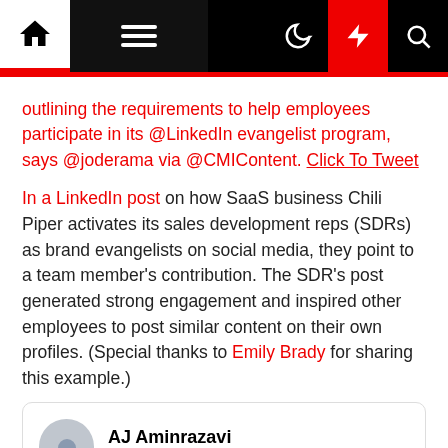Navigation bar with home, menu, moon, bolt, and search icons
outlining the requirements to help employees participate in its @LinkedIn evangelist program, says @joderama via @CMIContent. Click To Tweet
In a LinkedIn post on how SaaS business Chili Piper activates its sales development reps (SDRs) as brand evangelists on social media, they point to a team member's contribution. The SDR's post generated strong engagement and inspired other employees to post similar content on their own profiles. (Special thanks to Emily Brady for sharing this example.)
[Figure (screenshot): LinkedIn post card from AJ Aminrazavi, 10mo ago, text: 30 meetings today for my 30th Birthday.]